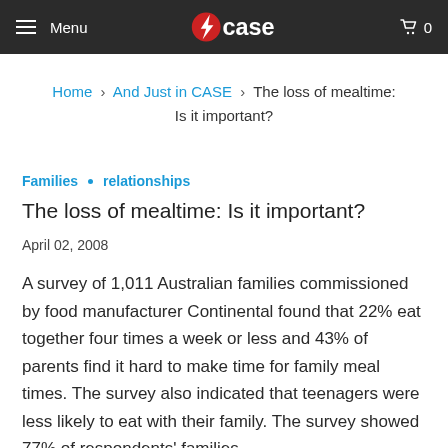Menu | CASE | 0
Home › And Just in CASE › The loss of mealtime: Is it important?
Families • relationships
The loss of mealtime: Is it important?
April 02, 2008
A survey of 1,011 Australian families commissioned by food manufacturer Continental found that 22% eat together four times a week or less and 43% of parents find it hard to make time for family meal times. The survey also indicated that teenagers were less likely to eat with their family. The survey showed 77% of respondents' families